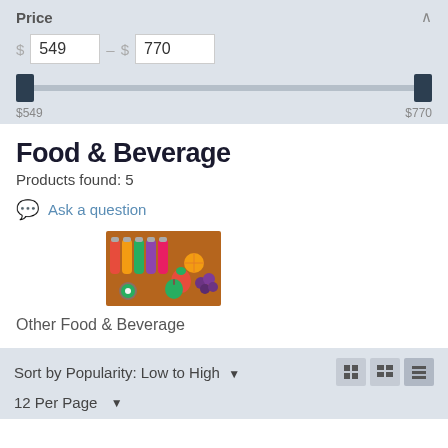Price
$ 549 – $ 770
$549 … $770
Food & Beverage
Products found: 5
Ask a question
[Figure (photo): Colorful fruits and vegetables including juice bottles, strawberries, grapes, and citrus on a wooden surface]
Other Food & Beverage
Sort by Popularity: Low to High ▾
12 Per Page ▾